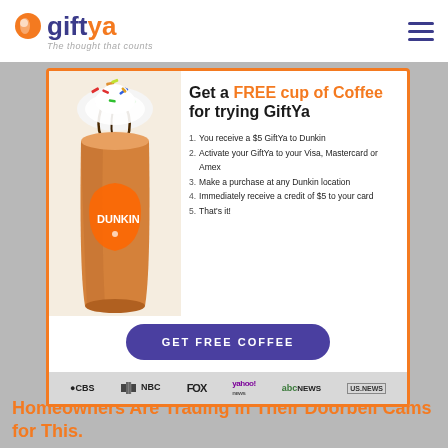giftya — The thought that counts
[Figure (screenshot): GiftYa promotional modal popup with Dunkin coffee cup image, headline 'Get a FREE cup of Coffee for trying GiftYa', numbered list of steps, GET FREE COFFEE button, and media logos (CBS, NBC, FOX, Yahoo News, ABC News, US News). Background shows a news article page.]
Get a FREE cup of Coffee for trying GiftYa
1. You receive a $5 GiftYa to Dunkin
2. Activate your GiftYa to your Visa, Mastercard or Amex
3. Make a purchase at any Dunkin location
4. Immediately receive a credit of $5 to your card
5. That's it!
GET FREE COFFEE
CBS NBC FOX yahoo! news abcNEWS US.NEWS
Homeowners Are Trading in Their Doorbell Cams for This.